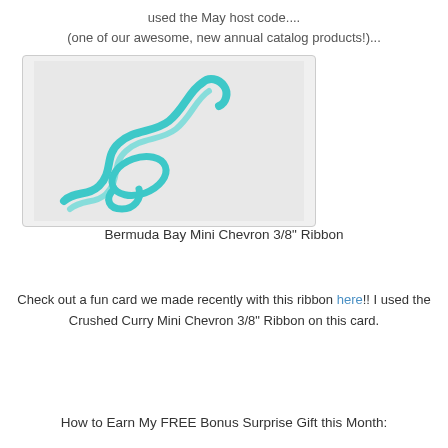used the May host code....
(one of our awesome, new annual catalog products!)...
[Figure (photo): Curled teal/bermuda bay ribbon on a light gray background]
Bermuda Bay Mini Chevron 3/8" Ribbon
Check out a fun card we made recently with this ribbon here!! I used the Crushed Curry Mini Chevron 3/8" Ribbon on this card.
How to Earn My FREE Bonus Surprise Gift this Month: